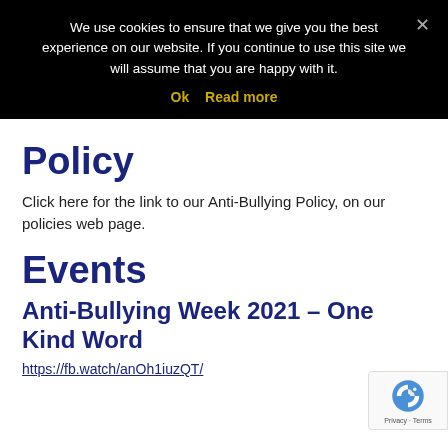We use cookies to ensure that we give you the best experience on our website. If you continue to use this site we will assume that you are happy with it.
Ok   Read more
Policy
Click here for the link to our Anti-Bullying Policy, on our policies web page.
Events
Anti-Bullying Week 2021 – One Kind Word
https://fb.watch/anOh1iuzQT/